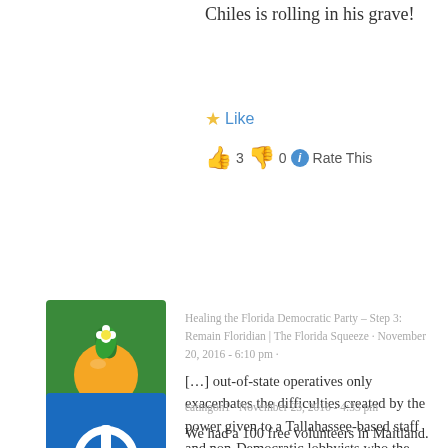Chiles is rolling in his grave!
Like
👍 3  👎 0  ⓘ Rate This
Healing the Florida Democratic Party – Step 3: Remain Floridian | The Florida Squeeze · November 20, 2016 - 6:10 pm ·
[…] out-of-state operatives only exacerbates the difficulties created by the power given to a Tallahassee-based staff and non-Democratic lobbyists who the staff may rub shoulders with. The combination of […]
Like
👍 0  👎 0  ⓘ Rate This
eatingon1 · November 23, 2016 - 4:33 pm ·
We had a 100 free volunteers in Maitland. Unfortunately